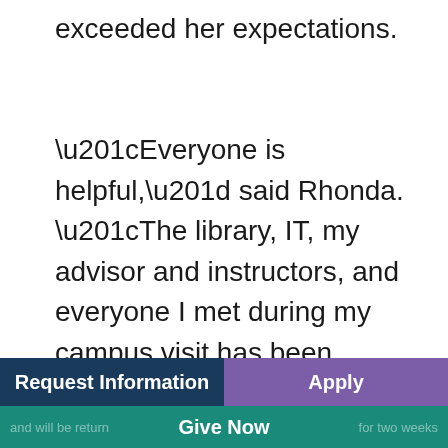exceeded her expectations.
“Everyone is helpful,” said Rhonda. “The library, IT, my advisor and instructors, and everyone I met during my campus visit has been expedient and accommodating. I am thankful for the guidance and support I have received as a student.”
Request Information | Apply | Give Now